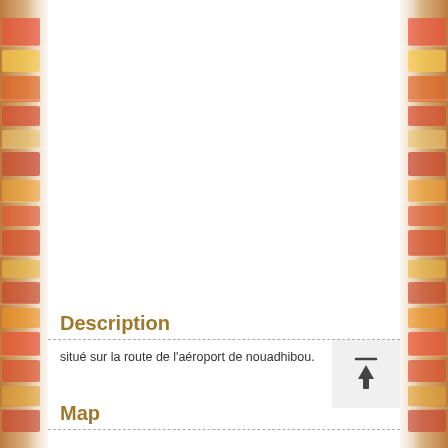[Figure (photo): Blurred supermarket/store shelves visible on the left and right sides of the page as a background image, with a white center content area.]
Description
situé sur la route de l'aéroport de nouadhibou.
Map